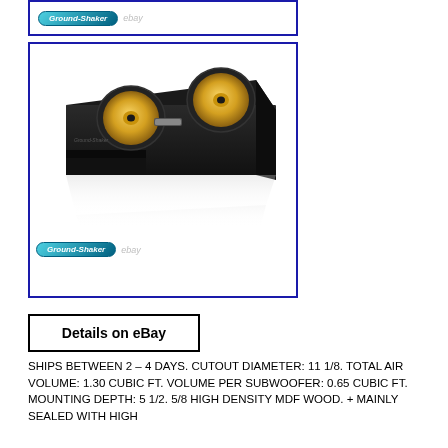[Figure (photo): Top partial image box showing Ground-Shaker logo with eBay watermark]
[Figure (photo): Black dual subwoofer enclosure box with yellow speaker cones visible, shown at an angle with reflection below, Ground-Shaker and eBay logos at bottom left]
Details on eBay
SHIPS BETWEEN 2 – 4 DAYS. CUTOUT DIAMETER: 11 1/8. TOTAL AIR VOLUME: 1.30 CUBIC FT. VOLUME PER SUBWOOFER: 0.65 CUBIC FT. MOUNTING DEPTH: 5 1/2. 5/8 HIGH DENSITY MDF WOOD. + MAINLY SEALED WITH HIGH